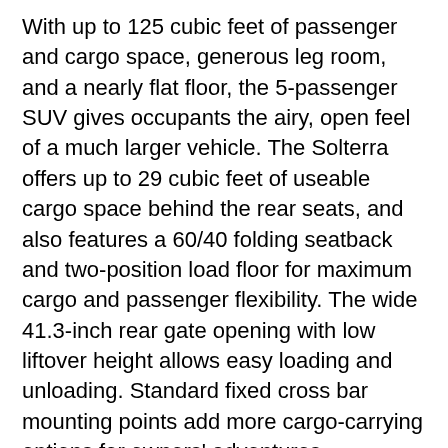With up to 125 cubic feet of passenger and cargo space, generous leg room, and a nearly flat floor, the 5-passenger SUV gives occupants the airy, open feel of a much larger vehicle. The Solterra offers up to 29 cubic feet of useable cargo space behind the rear seats, and also features a 60/40 folding seatback and two-position load floor for maximum cargo and passenger flexibility. The wide 41.3-inch rear gate opening with low liftover height allows easy loading and unloading. Standard fixed cross bar mounting points add more cargo-carrying options for owners' adventures.
Safety Technology
The new Solterra offers a suite of standard EyeSight® driver assist technologies including Emergency Steering Assist, Intersection Collision Avoidance Support, Pre-Collision Brake Assist, Lane Departure Prevention, and Dynamic Radar Cruise